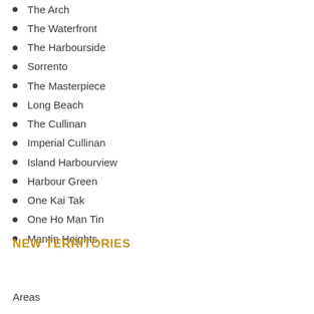The Arch
The Waterfront
The Harbourside
Sorrento
The Masterpiece
Long Beach
The Cullinan
Imperial Cullinan
Island Harbourview
Harbour Green
One Kai Tak
One Ho Man Tin
Mantin Heights
NEW TERRITORIES
Areas